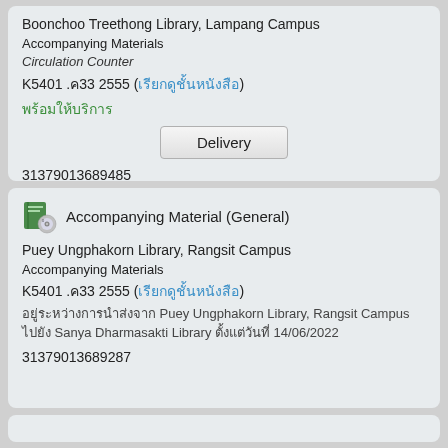Boonchoo Treethong Library, Lampang Campus
Accompanying Materials
Circulation Counter
K5401 .ค33 2555 (เรียกดูชั้นหนังสือ)
พร้อมให้บริการ
Delivery
31379013689485
Accompanying Material (General)
Puey Ungphakorn Library, Rangsit Campus
Accompanying Materials
K5401 .ค33 2555 (เรียกดูชั้นหนังสือ)
อยู่ระหว่างการนำส่งจาก Puey Ungphakorn Library, Rangsit Campus ไปยัง Sanya Dharmasakti Library ตั้งแต่วันที่ 14/06/2022
31379013689287